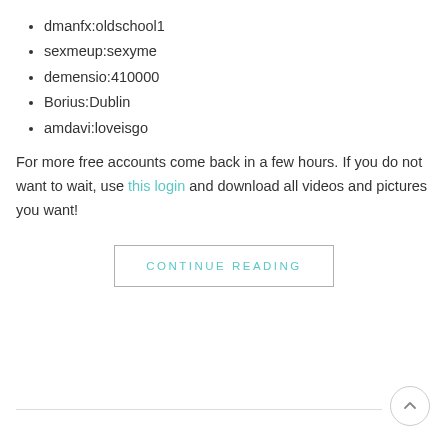dmanfx:oldschool1
sexmeup:sexyme
demensio:410000
Borius:Dublin
amdavi:loveisgo
For more free accounts come back in a few hours. If you do not want to wait, use this login and download all videos and pictures you want!
CONTINUE READING